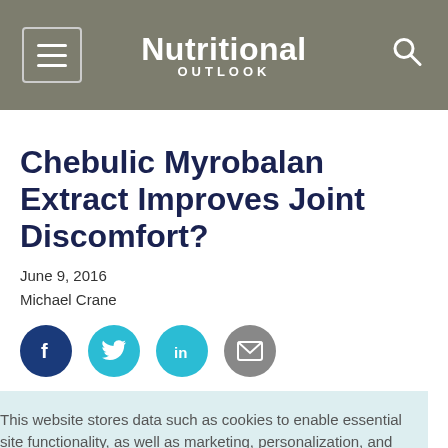Nutritional OUTLOOK
Chebulic Myrobalan Extract Improves Joint Discomfort?
June 9, 2016
Michael Crane
[Figure (infographic): Social share buttons: Facebook, Twitter, LinkedIn, Email]
This website stores data such as cookies to enable essential site functionality, as well as marketing, personalization, and analytics. Cookie Policy
Accept
Deny